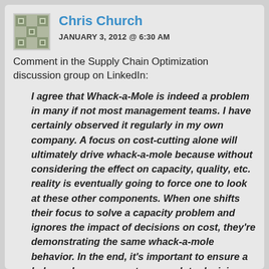Chris Church
JANUARY 3, 2012 @ 6:30 AM
Comment in the Supply Chain Optimization discussion group on LinkedIn:
I agree that Whack-a-Mole is indeed a problem in many if not most management teams. I have certainly observed it regularly in my own company. A focus on cost-cutting alone will ultimately drive whack-a-mole because without considering the effect on capacity, quality, etc. reality is eventually going to force one to look at these other components. When one shifts their focus to solve a capacity problem and ignores the impact of decisions on cost, they're demonstrating the same whack-a-mole behavior. In the end, it's important to ensure a balanced management approach to decision making. You started your blog highlighting this issue with